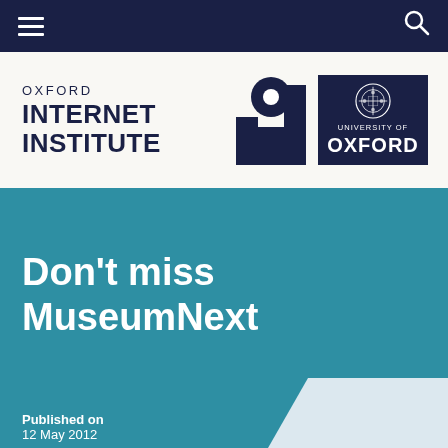Navigation bar with hamburger menu and search icon
[Figure (logo): Oxford Internet Institute logo and University of Oxford logo side by side in header]
Don't miss MuseumNext
Published on
12 May 2012